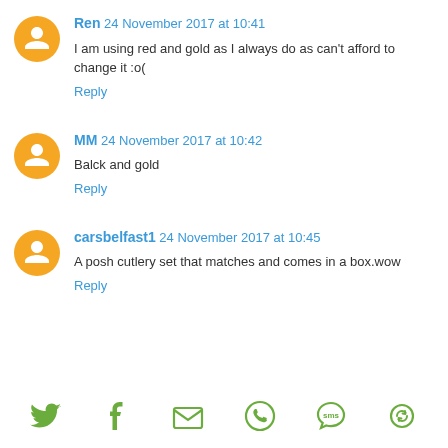Ren 24 November 2017 at 10:41
I am using red and gold as I always do as can't afford to change it :o(
Reply
MM 24 November 2017 at 10:42
Balck and gold
Reply
carsbelfast1 24 November 2017 at 10:45
A posh cutlery set that matches and comes in a box.wow
Reply
[Figure (infographic): Social sharing icons: Twitter, Facebook, Email, WhatsApp, SMS, and another share icon, all in green/olive color]